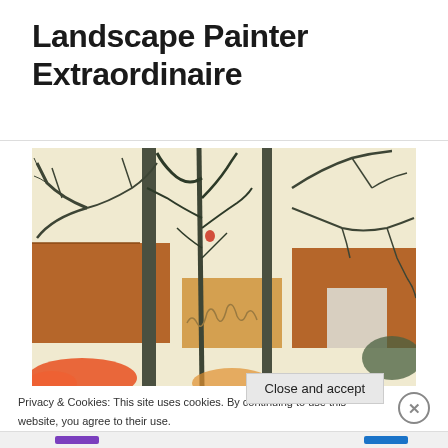Landscape Painter Extraordinaire
[Figure (illustration): A landscape painting showing bare trees with dark branches against a pale yellow sky, with brown wooden fence panels and hints of orange and pink foliage at the bottom. The style appears to be a modern/digital painting with bold outlines.]
Privacy & Cookies: This site uses cookies. By continuing to use this website, you agree to their use.
To find out more, including how to control cookies, see here: Cookie Policy
Close and accept